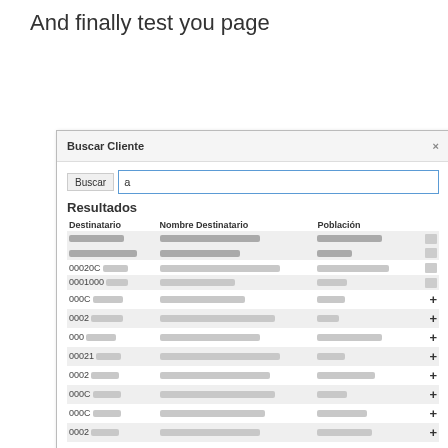And finally test you page
[Figure (screenshot): Screenshot of a modal dialog titled 'Buscar Cliente' with a search bar containing 'a', a 'Resultados' section, and a table with columns Destinatario, Nombre Destinatario, Población showing multiple blurred/redacted rows with + icons for selection.]